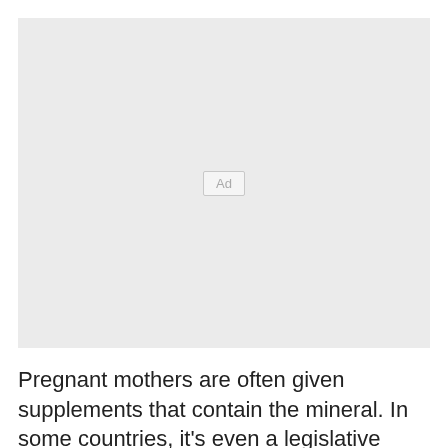[Figure (other): Advertisement placeholder box with 'Ad' label centered inside a light gray rectangle]
Pregnant mothers are often given supplements that contain the mineral. In some countries, it's even a legislative